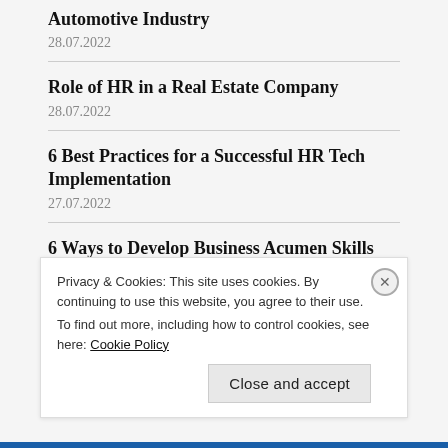Automotive Industry
28.07.2022
Role of HR in a Real Estate Company
28.07.2022
6 Best Practices for a Successful HR Tech Implementation
27.07.2022
6 Ways to Develop Business Acumen Skills and Step into Leadership
26.07.2022
Privacy & Cookies: This site uses cookies. By continuing to use this website, you agree to their use.
To find out more, including how to control cookies, see here: Cookie Policy
Close and accept